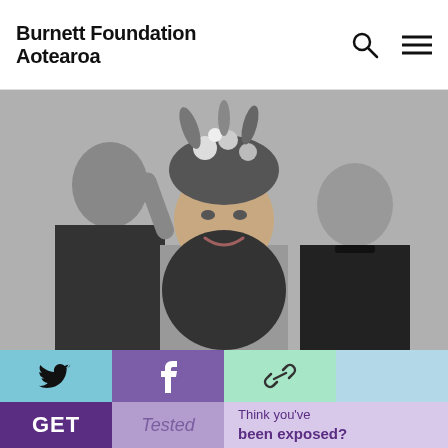Burnett Foundation Aotearoa
[Figure (photo): Black and white photo of three people: a man on the left arranging a floral headdress on a central figure in elaborate drag costume with long dark hair and decorative headpiece, and a second man on the right wearing dark clothing with a choker]
[Figure (infographic): Social share bar with Twitter (blue background), Facebook (purple background), and link (green background) icons, followed by a light blue spacer]
GET Tested Think you've been exposed?